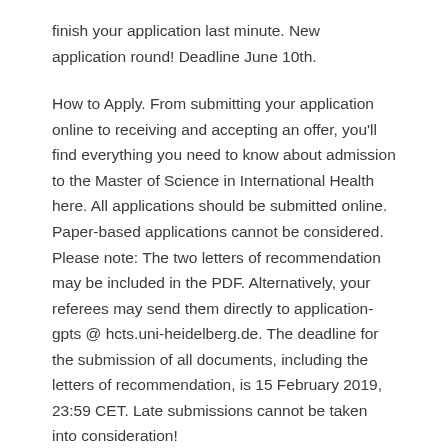finish your application last minute. New application round! Deadline June 10th.
How to Apply. From submitting your application online to receiving and accepting an offer, you'll find everything you need to know about admission to the Master of Science in International Health here. All applications should be submitted online. Paper-based applications cannot be considered. Please note: The two letters of recommendation may be included in the PDF. Alternatively, your referees may send them directly to application-gpts @ hcts.uni-heidelberg.de. The deadline for the submission of all documents, including the letters of recommendation, is 15 February 2019, 23:59 CET. Late submissions cannot be taken into consideration!
In order to apply for the 2020 Spring Academy, please fill out and submit our online application form. The online application